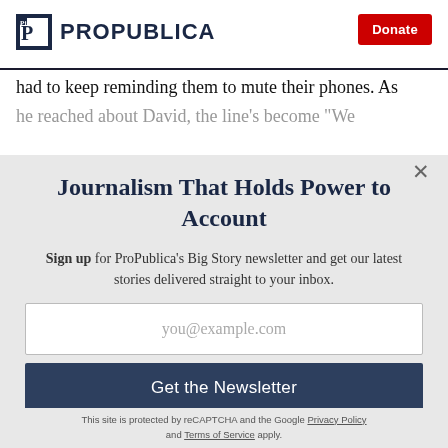ProPublica | Donate
had to keep reminding them to mute their phones. As
Journalism That Holds Power to Account
Sign up for ProPublica's Big Story newsletter and get our latest stories delivered straight to your inbox.
you@example.com
Get the Newsletter
No thanks, I'm all set
This site is protected by reCAPTCHA and the Google Privacy Policy and Terms of Service apply.